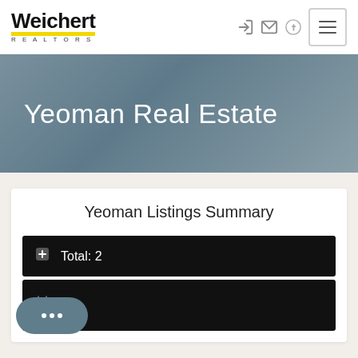[Figure (logo): Weichert Realtors logo — bold black text with yellow underbar and spaced REALTORS text below]
[Figure (screenshot): Navigation icons: login arrow, envelope, Facebook circle, and hamburger menu button]
Yeoman Real Estate
Yeoman Listings Summary
Total: 2